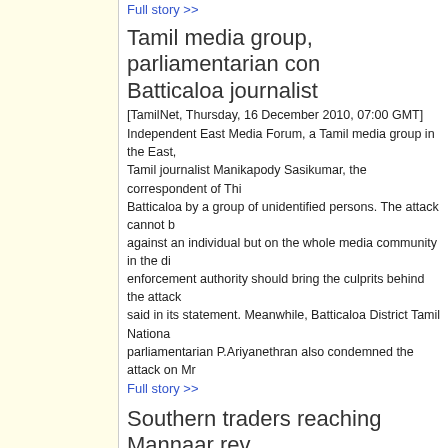Full story >>
Tamil media group, parliamentarian con... Batticaloa journalist
[TamilNet, Thursday, 16 December 2010, 07:00 GMT]
Independent East Media Forum, a Tamil media group in the East, Tamil journalist Manikapody Sasikumar, the correspondent of Thi... Batticaloa by a group of unidentified persons. The attack cannot b... against an individual but on the whole media community in the di... enforcement authority should bring the culprits behind the attack... said in its statement. Meanwhile, Batticaloa District Tamil Nationa... parliamentarian P.Ariyanethran also condemned the attack on Mr...
Full story >>
Southern traders reaching Mannaar rev... activity
[TamilNet, Wednesday, 15 December 2010, 21:20 GMT]
Pavement traders and hawkers occupying the streets of Mannaa... from the local Tamil-speaking business owners on Wednesday re... being sent by a group of agents operating in the south when they... secretary of the Urban Council of Mannaar with complaints from l...
Full story >>
SLA, Police launch search operations in...
[TamilNet, Wednesday, 15 December 2010, 20:17 GMT]
Armed policemen and Sri Lanka Army soldiers were deployed wi... council of Mannaar in search operations inspecting the passenge... pedestrians who hit the roads Wednesday evening between 6:00...
Full story >>
Buddhist monk in Batticaloa said encro... Muslim school land